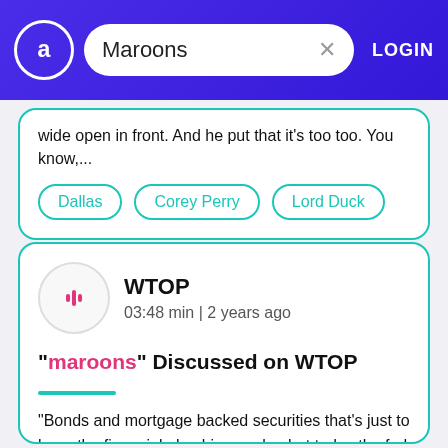Maroons — search bar with LOGIN button
wide open in front. And he put that it's too too. You know,...
Dallas
Corey Perry
Lord Duck
WTOP
03:48 min | 2 years ago
"maroons" Discussed on WTOP
"Bonds and mortgage backed securities that's just to keep the financial plumbing unclog but today the fed said not only they're going to do that they're gonna buy as much a...